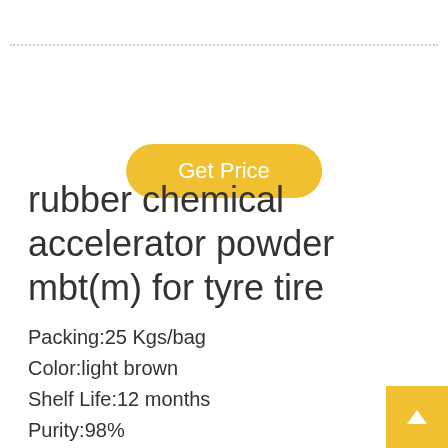Get Price
rubber chemical accelerator powder mbt(m) for tyre tire
Packing:25 Kgs/bag
Color:light brown
Shelf Life:12 months
Purity:98%
Certification:ISO9001
Appearance:Powder,Oil powder or Granula